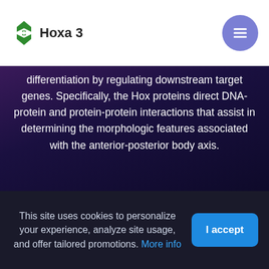Hoxa 3
differentiation by regulating downstream target genes. Specifically, the Hox proteins direct DNA-protein and protein-protein interactions that assist in determining the morphologic features associated with the anterior-posterior body axis.
CONTACT
Tel: +34 911 876 558
E-Mail: SPAIN@GENTAUR.COM
This site uses cookies to personalize your experience, analyze site usage, and offer tailored promotions. More info
I accept